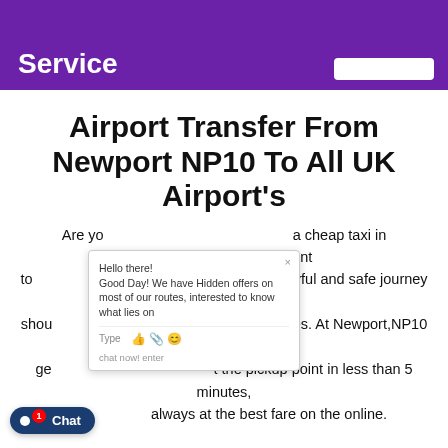Service
Airport Transfer From Newport NP10 To All UK Airport's
Are you looking for a cheap taxi in Newport,NP10? If you want to save money, have a joyful and safe journey you should use Quote services. At Newport,NP10 you can get a taxi at the pickup point in less than 5 minutes, always at the best fare on the online.